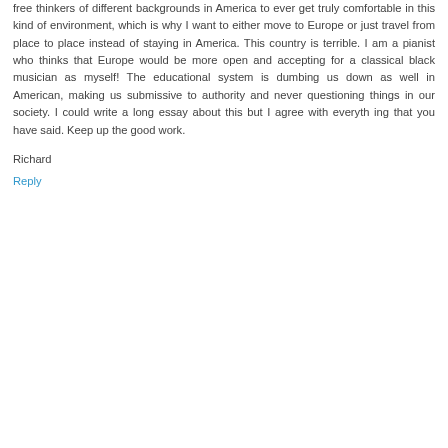free thinkers of different backgrounds in America to ever get truly comfortable in this kind of environment, which is why I want to either move to Europe or just travel from place to place instead of staying in America. This country is terrible. I am a pianist who thinks that Europe would be more open and accepting for a classical black musician as myself! The educational system is dumbing us down as well in American, making us submissive to authority and never questioning things in our society. I could write a long essay about this but I agree with everyth ing that you have said. Keep up the good work.
Richard
Reply